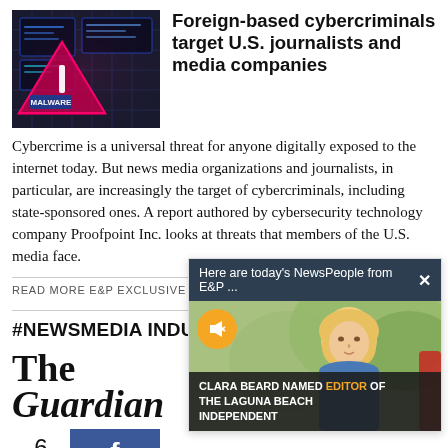[Figure (photo): Dark blue/cyberpunk style image with a pink/red warning triangle and 'MALWARE' label on a digital screen background]
Foreign-based cybercriminals target U.S. journalists and media companies
Cybercrime is a universal threat for anyone digitally exposed to the internet today. But news media organizations and journalists, in particular, are increasingly the target of cybercriminals, including state-sponsored ones. A report authored by cybersecurity technology company Proofpoint Inc. looks at threats that members of the U.S. media face.
READ MORE E&P EXCLUSIVE STORIES ▶
#NEWSMEDIA INDUST
[Figure (logo): The Guardian newspaper logo in large bold italic serif font]
6
SHARES
[Figure (screenshot): Popup overlay with dark header reading 'Here are today's NewsPeople from E&P ...' with a close X button, photo of a blonde woman outdoors, mute button, and caption 'CLARA BEARD NAMED EDITOR OF THE LAGUNA BEACH INDEPENDENT']